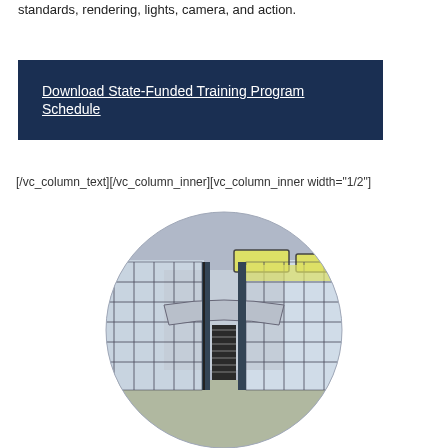standards, rendering, lights, camera, and action.
Download State-Funded Training Program Schedule
[/vc_column_text][/vc_column_inner][vc_column_inner width="1/2"]
[Figure (illustration): Architectural rendering of a modern building interior/exterior shown in a circular crop, featuring glass curtain walls, skylights, a reception area with turnstile, and beige flooring with a steel-frame structure]